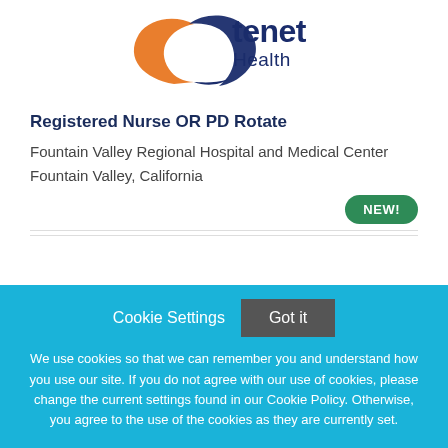[Figure (logo): Tenet Health logo with circular swoosh design in blue and orange]
Registered Nurse OR PD Rotate
Fountain Valley Regional Hospital and Medical Center
Fountain Valley, California
NEW!
Cookie Settings  Got it
We use cookies so that we can remember you and understand how you use our site. If you do not agree with our use of cookies, please change the current settings found in our Cookie Policy. Otherwise, you agree to the use of the cookies as they are currently set.